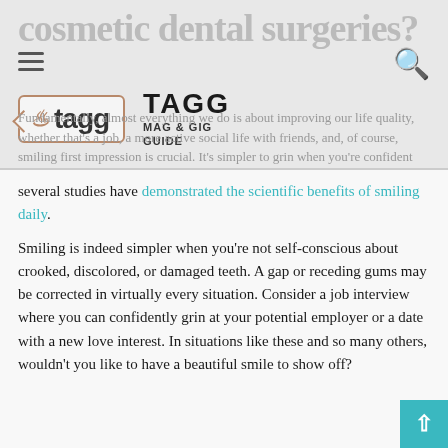cosmetic dental surgeries?
[Figure (logo): TAGG Mag & Gig Guide logo with stylized tag shape and text]
several studies have demonstrated the scientific benefits of smiling daily.
Smiling is indeed simpler when you’re not self-conscious about crooked, discolored, or damaged teeth. A gap or receding gums may be corrected in virtually every situation. Consider a job interview where you can confidently grin at your potential employer or a date with a new love interest. In situations like these and so many others, wouldn’t you like to have a beautiful smile to show off?